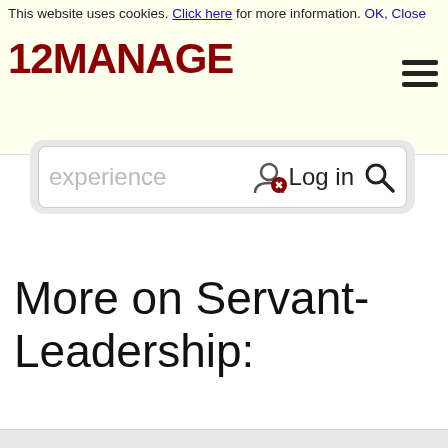This website uses cookies. Click here for more information. OK, Close
[Figure (logo): 12MANAGE logo in dark red bold text with hamburger menu icon]
experience  Log in
More on Servant-Leadership: